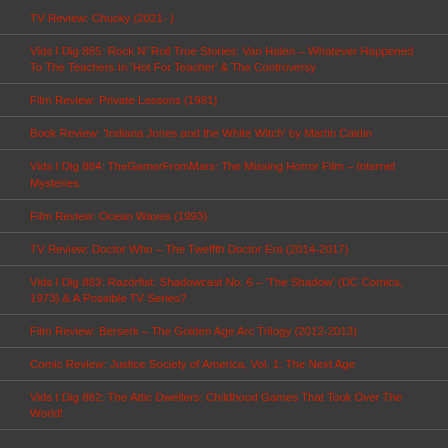TV Review: Chucky (2021- )
Vids I Dig 885: Rock N' Roll True Stories: Van Halen – Whatever Happened To The Teachers In 'Hot For Teacher' & The Controversy
Film Review: Private Lessons (1981)
Book Review: 'Indiana Jones and the White Witch' by Martin Caidin
Vids I Dig 884: TheGamerFromMars: The Missing Horror Film – Internet Mysteries
Film Review: Ocean Waves (1993)
TV Review: Doctor Who – The Twelfth Doctor Era (2014-2017)
Vids I Dig 883: Razörfist: Shadowcast No. 6 – 'The Shadow' (DC Comics, 1973) & A Possible TV Series?
Film Review: Berserk – The Golden Age Arc Trilogy (2012-2013)
Comic Review: Justice Society of America, Vol. 1: The Next Age
Vids I Dig 882: The Attic Dwellers: Childhood Games That Took Over The World!